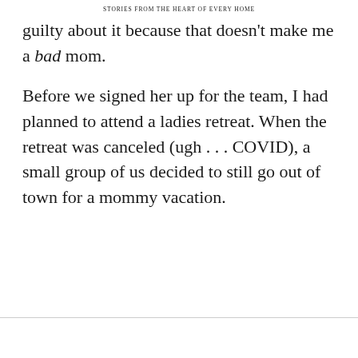STORIES FROM THE HEART OF EVERY HOME
guilty about it because that doesn't make me a bad mom.
Before we signed her up for the team, I had planned to attend a ladies retreat. When the retreat was canceled (ugh . . . COVID), a small group of us decided to still go out of town for a mommy vacation.